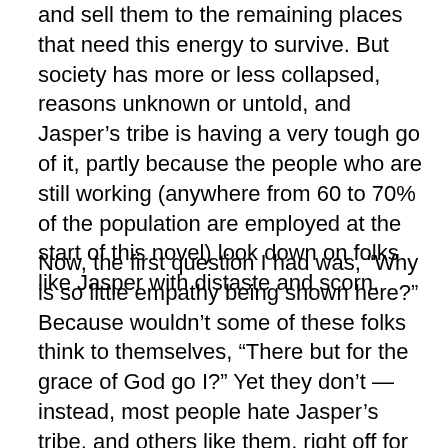and sell them to the remaining places that need this energy to survive.  But society has more or less collapsed, reasons unknown or untold, and Jasper's tribe is having a very tough go of it, partly because the people who are still working (anywhere from 60 to 70% of the population are employed at the start of this novel) look down on folks like Jasper with distaste and scorn.
Now, the first question I had was, “Why is so little empathy being shown here?”  Because wouldn’t some of these folks think to themselves, “There but for the grace of God go I?”  Yet they don’t — instead, most people hate Jasper’s tribe, and others like them, right off for no good reason whatsoever.
Next, we meet Jasper’s erstwhile lover, Sylvia, a woman who still has a job.  Sylvia and Jasper have a more or less